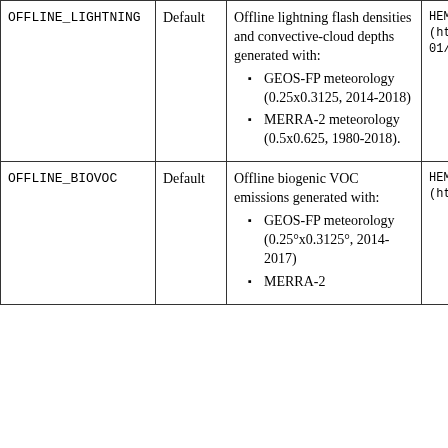| Name | Type | Description | Path |
| --- | --- | --- | --- |
| OFFLINE_LIGHTNING | Default | Offline lightning flash densities and convective-cloud depths generated with:
• GEOS-FP meteorology (0.25x0.3125, 2014-2018)
• MERRA-2 meteorology (0.5x0.625, 1980-2018). | HEMCO/0...(http://ft...01/) |
| OFFLINE_BIOVOC | Default | Offline biogenic VOC emissions generated with:
• GEOS-FP meteorology (0.25°x0.3125°, 2014-2017)
• MERRA-2 meteorology ... | HEMCO/0...(http://ft... |